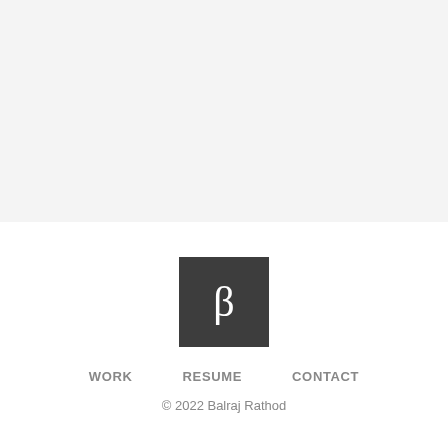[Figure (other): Light gray background area filling the top portion of the page]
[Figure (logo): Dark gray square logo containing a white beta symbol (β)]
WORK    RESUME    CONTACT
© 2022 Balraj Rathod